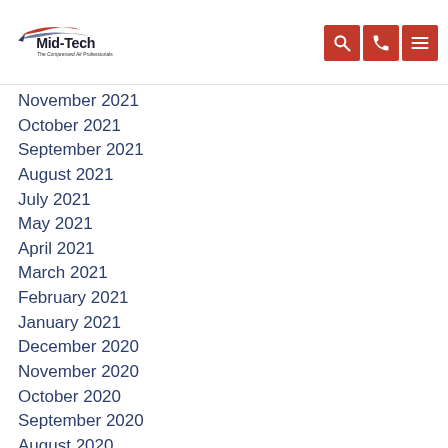[Figure (logo): Mid-Tech logo with 'The Compressed Air Professionals' tagline and red/blue swoosh graphic]
November 2021
October 2021
September 2021
August 2021
July 2021
May 2021
April 2021
March 2021
February 2021
January 2021
December 2020
November 2020
October 2020
September 2020
August 2020